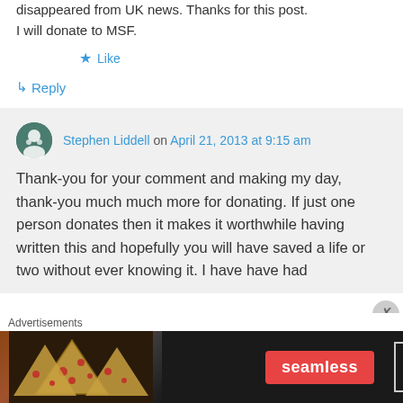disappeared from UK news. Thanks for this post. I will donate to MSF.
★ Like
↳ Reply
Stephen Liddell on April 21, 2013 at 9:15 am
Thank-you for your comment and making my day, thank-you much much more for donating. If just one person donates then it makes it worthwhile having written this and hopefully you will have saved a life or two without ever knowing it. I have have had
Advertisements
[Figure (screenshot): Seamless food delivery advertisement banner showing pizza slices on dark background with red Seamless logo and ORDER NOW button]